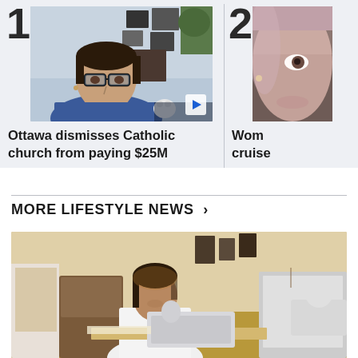[Figure (photo): Video thumbnail showing a woman with glasses seated at a desk with framed photos on the wall behind her, numbered card 1]
Ottawa dismisses Catholic church from paying $25M
[Figure (photo): Partially visible image numbered 2, showing a close-up of a person's face/side profile]
Wom
cruise
MORE LIFESTYLE NEWS >
[Figure (photo): Woman sewing at a sewing machine in a colorful home studio with patterned fabric and furniture]